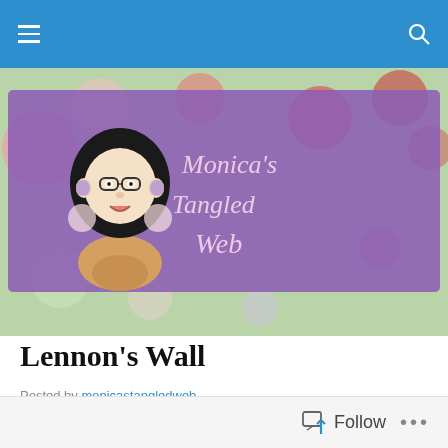Monica's Tangled Web — navigation bar
[Figure (illustration): Blog banner with purple background, cartoon caricature of a woman with curly hair and glasses on the left, and stylized cursive text 'Monica's Tangled Web' on the right]
Lennon's Wall
Posted by monicastangledweb
I was eight years old when the Beatles entered my life, jolting me awake from my childhood stupor of playing games like, Hopscotch and Simon Says.
[Figure (photo): Colorful image strip at the bottom of the post, partially visible]
Follow  •••